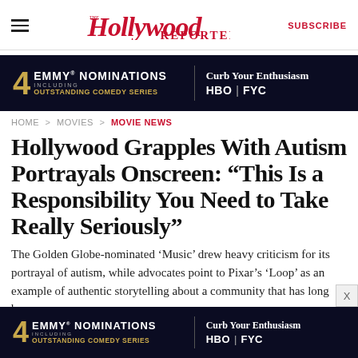The Hollywood Reporter | SUBSCRIBE
[Figure (infographic): 4 Emmy Nominations including Outstanding Comedy Series - Curb Your Enthusiasm HBO FYC advertisement banner]
HOME > MOVIES > MOVIE NEWS
Hollywood Grapples With Autism Portrayals Onscreen: “This Is a Responsibility You Need to Take Really Seriously”
The Golden Globe-nominated ‘Music’ drew heavy criticism for its portrayal of autism, while advocates point to Pixar’s ‘Loop’ as an example of authentic storytelling about a community that has long been
[Figure (infographic): 4 Emmy Nominations including Outstanding Comedy Series - Curb Your Enthusiasm HBO FYC advertisement banner (bottom)]